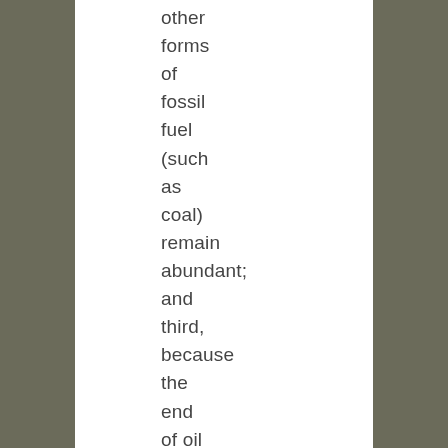other forms of fossil fuel (such as coal) remain abundant; and third, because the end of oil does not mean the end of cheap